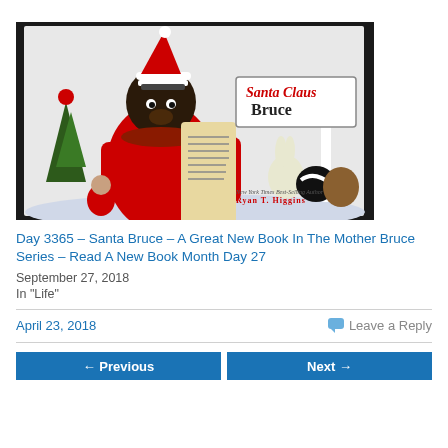[Figure (photo): Photo of the book 'Santa Claus Bruce' by Ryan T. Higgins, showing a bear dressed as Santa Claus holding a list, surrounded by woodland animals, with a candy cane pole in the background.]
Day 3365 – Santa Bruce – A Great New Book In The Mother Bruce Series – Read A New Book Month Day 27
September 27, 2018
In "Life"
April 23, 2018
Leave a Reply
← Previous
Next →